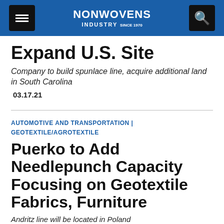NONWOVENS INDUSTRY
Expand U.S. Site
Company to build spunlace line, acquire additional land in South Carolina
03.17.21
AUTOMOTIVE AND TRANSPORTATION | GEOTEXTILE/AGROTEXTILE
Puerko to Add Needlepunch Capacity Focusing on Geotextile Fabrics, Furniture
Andritz line will be located in Poland
Karen McIntyre, editor • 03.15.21